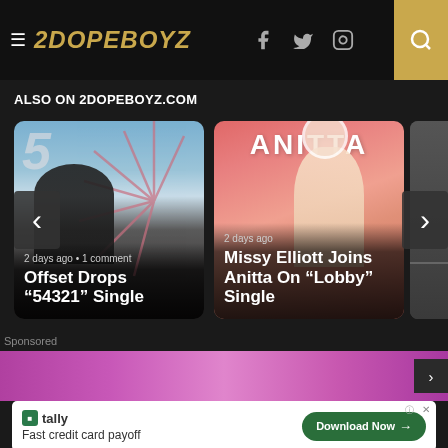2DOPEBOYZ
ALSO ON 2DOPEBOYZ.COM
[Figure (photo): Article card: Offset with carnival ride background, text reads '2 days ago • 1 comment / Offset Drops "54321" Single']
[Figure (photo): Article card: Anitta promotional image on pink background, text reads '2 days ago / Missy Elliott Joins Anitta On "Lobby" Single']
Sponsored
[Figure (photo): Advertisement banner area with pink/purple gradient background]
[Figure (infographic): Tally advertisement: Fast credit card payoff. Download Now button.]